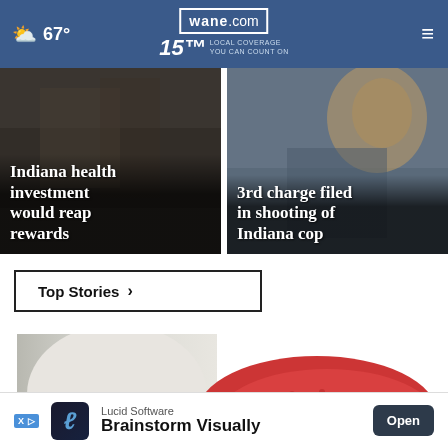67° wane.com 15 LOCAL COVERAGE YOU CAN COUNT ON
[Figure (photo): News card: Indiana health investment would reap rewards - dark background with indoor scene]
Indiana health investment would reap rewards
[Figure (photo): News card: 3rd charge filed in shooting of Indiana cop - dog/person image]
3rd charge filed in shooting of Indiana cop
Top Stories ›
[Figure (photo): Close-up photo of a person's ankle wearing white pants and a red slip-on sneaker with beige sole]
[Figure (other): Advertisement: Lucid Software - Brainstorm Visually - Open button]